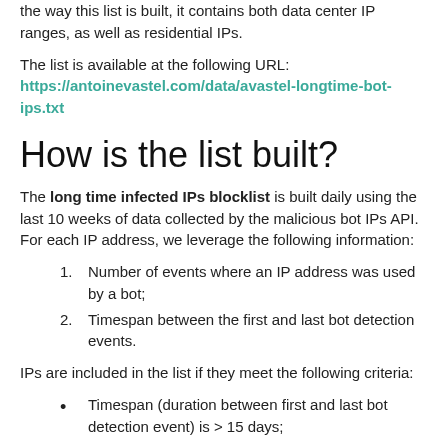the way this list is built, it contains both data center IP ranges, as well as residential IPs.
The list is available at the following URL: https://antoinevastel.com/data/avastel-longtime-bot-ips.txt
How is the list built?
The long time infected IPs blocklist is built daily using the last 10 weeks of data collected by the malicious bot IPs API. For each IP address, we leverage the following information:
Number of events where an IP address was used by a bot;
Timespan between the first and last bot detection events.
IPs are included in the list if they meet the following criteria:
Timespan (duration between first and last bot detection event) is > 15 days;